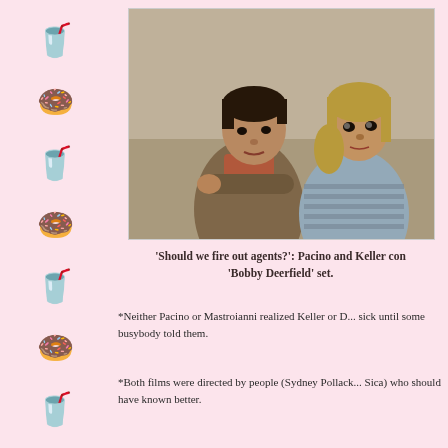[Figure (photo): Film still showing two people, a man in a brown jacket and a woman in a striped shirt, sitting close together looking concerned. From the movie 'Bobby Deerfield'.]
'Should we fire out agents?': Pacino and Keller con... 'Bobby Deerfield' set.
*Neither Pacino or Mastroianni realized Keller or D... sick until some busybody told them.
*Both films were directed by people (Sydney Pollack... Sica) who should have known better.